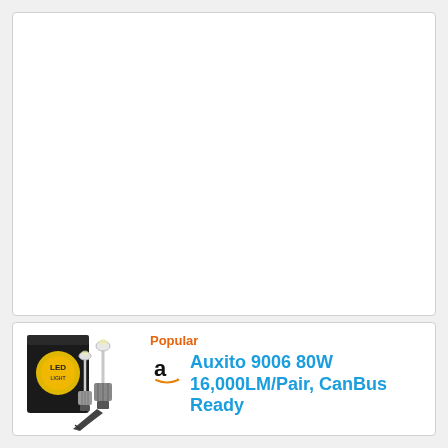[Figure (other): Empty white card area at top of page]
Popular
[Figure (photo): Product photo of Auxito 9006 LED headlight bulbs pair with black box packaging showing yellow LED circle logo]
Auxito 9006 80W 16,000LM/Pair, CanBus Ready
– 360° illumination: Ultra-thin board design effectively simulates 9006/hb4 halogen lamp's